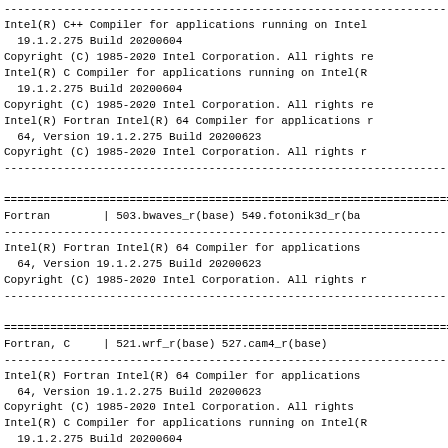------------------------------------------------------------------------
Intel(R) C++ Compiler for applications running on Intel
  19.1.2.275 Build 20200604
Copyright (C) 1985-2020 Intel Corporation. All rights re
Intel(R) C Compiler for applications running on Intel(R
  19.1.2.275 Build 20200604
Copyright (C) 1985-2020 Intel Corporation. All rights re
Intel(R) Fortran Intel(R) 64 Compiler for applications r
  64, Version 19.1.2.275 Build 20200623
Copyright (C) 1985-2020 Intel Corporation. All rights r
------------------------------------------------------------------------
========================================================================
Fortran        | 503.bwaves_r(base) 549.fotonik3d_r(ba
------------------------------------------------------------------------
Intel(R) Fortran Intel(R) 64 Compiler for applications
  64, Version 19.1.2.275 Build 20200623
Copyright (C) 1985-2020 Intel Corporation. All rights r
------------------------------------------------------------------------
========================================================================
Fortran, C     | 521.wrf_r(base) 527.cam4_r(base)
------------------------------------------------------------------------
Intel(R) Fortran Intel(R) 64 Compiler for applications
  64, Version 19.1.2.275 Build 20200623
Copyright (C) 1985-2020 Intel Corporation. All rights
Intel(R) C Compiler for applications running on Intel(R
  19.1.2.275 Build 20200604
Copyright (C) 1985-2020 Intel Corporation. All rights re
------------------------------------------------------------------------